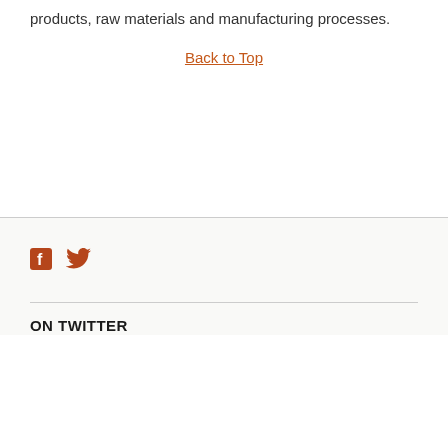products, raw materials and manufacturing processes.
Back to Top
[Figure (illustration): Facebook and Twitter social media icons in orange/brown color]
ON TWITTER